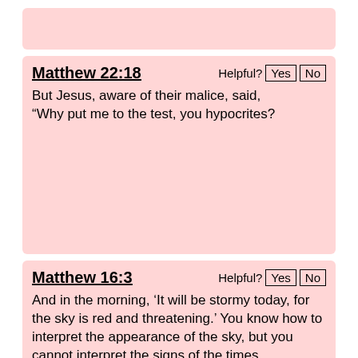[Figure (other): Partial pink card visible at top of page (cropped)]
Matthew 22:18
But Jesus, aware of their malice, said, “Why put me to the test, you hypocrites?
Matthew 16:3
And in the morning, ‘It will be stormy today, for the sky is red and threatening.’ You know how to interpret the appearance of the sky, but you cannot interpret the signs of the times.